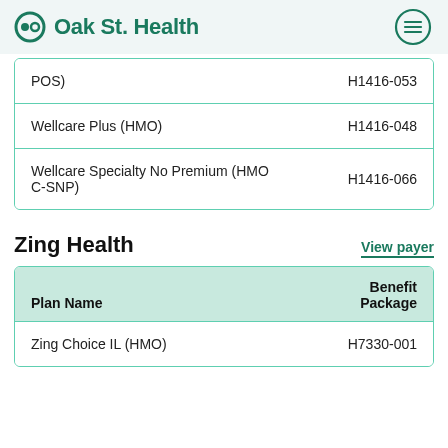Oak St. Health
| Plan Name | Benefit Package |
| --- | --- |
| POS) | H1416-053 |
| Wellcare Plus (HMO) | H1416-048 |
| Wellcare Specialty No Premium (HMO C-SNP) | H1416-066 |
Zing Health
| Plan Name | Benefit Package |
| --- | --- |
| Zing Choice IL (HMO) | H7330-001 |